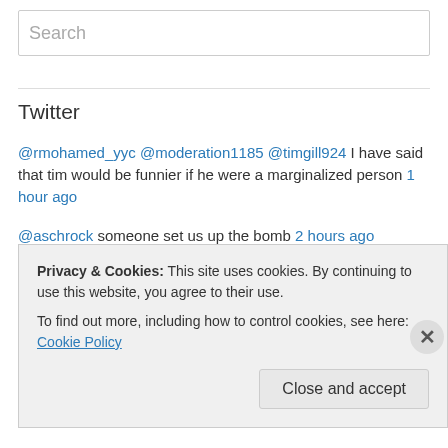Search
Twitter
@rmohamed_yyc @moderation1185 @timgill924 I have said that tim would be funnier if he were a marginalized person 1 hour ago
@aschrock someone set us up the bomb 2 hours ago
@debipriya @timgill924 some people just don't enjoy the finer things in life 2 hours ago
RT @debipriya: #AcademicTwitter being convlued by @timgill924/a...
Privacy & Cookies: This site uses cookies. By continuing to use this website, you agree to their use.
To find out more, including how to control cookies, see here: Cookie Policy
Close and accept